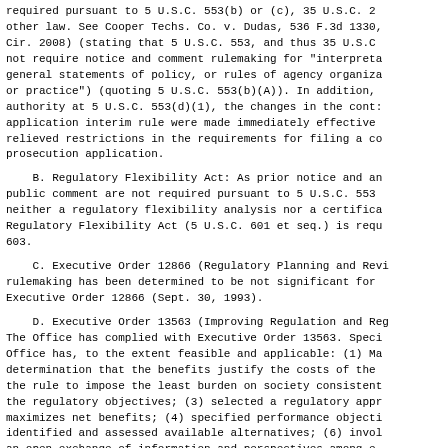required pursuant to 5 U.S.C. 553(b) or (c), 35 U.S.C. 2 other law. See Cooper Techs. Co. v. Dudas, 536 F.3d 1330, Cir. 2008) (stating that 5 U.S.C. 553, and thus 35 U.S.C not require notice and comment rulemaking for "interpreta general statements of policy, or rules of agency organiza or practice") (quoting 5 U.S.C. 553(b)(A)). In addition, authority at 5 U.S.C. 553(d)(1), the changes in the cont: application interim rule were made immediately effective relieved restrictions in the requirements for filing a c prosecution application.
B. Regulatory Flexibility Act: As prior notice and an public comment are not required pursuant to 5 U.S.C. 553 neither a regulatory flexibility analysis nor a certifica Regulatory Flexibility Act (5 U.S.C. 601 et seq.) is req 603.
C. Executive Order 12866 (Regulatory Planning and Rev: rulemaking has been determined to be not significant for Executive Order 12866 (Sept. 30, 1993).
D. Executive Order 13563 (Improving Regulation and Re The Office has complied with Executive Order 13563. Spec Office has, to the extent feasible and applicable: (1) Ma determination that the benefits justify the costs of the the rule to impose the least burden on society consisten the regulatory objectives; (3) selected a regulatory app maximizes net benefits; (4) specified performance object identified and assessed available alternatives; (6) invo an open exchange of information and perspectives among e